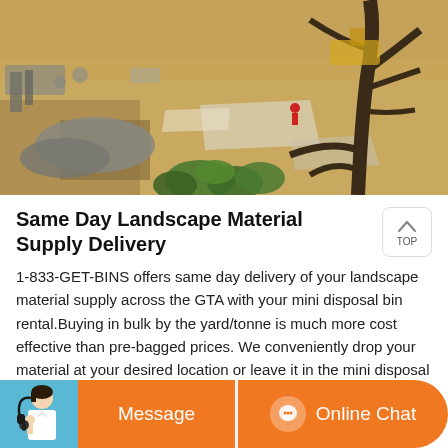[Figure (photo): Aerial view of a construction or landscaping site with sandy ground, construction equipment, a person in red, tree branches, green shrubs, and piles of material/gravel.]
Same Day Landscape Material Supply Delivery
1-833-GET-BINS offers same day delivery of your landscape material supply across the GTA with your mini disposal bin rental.Buying in bulk by the yard/tonne is much more cost effective than pre-bagged prices. We conveniently drop your material at your desired location or leave it in the mini disposal bin.
[Figure (screenshot): Chat bar at bottom with avatar of female customer service agent on left, orange 'Message' button in center-left, and orange 'Online Chat' button with chat icon on right.]